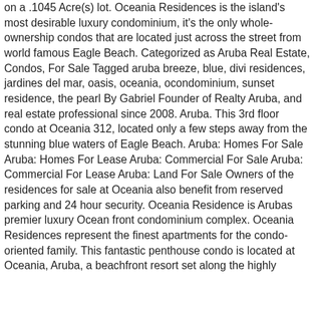on a .1045 Acre(s) lot. Oceania Residences is the island's most desirable luxury condominium, it's the only whole-ownership condos that are located just across the street from world famous Eagle Beach. Categorized as Aruba Real Estate, Condos, For Sale Tagged aruba breeze, blue, divi residences, jardines del mar, oasis, oceania, ocondominium, sunset residence, the pearl By Gabriel Founder of Realty Aruba, and real estate professional since 2008. Aruba. This 3rd floor condo at Oceania 312, located only a few steps away from the stunning blue waters of Eagle Beach. Aruba: Homes For Sale Aruba: Homes For Lease Aruba: Commercial For Sale Aruba: Commercial For Lease Aruba: Land For Sale Owners of the residences for sale at Oceania also benefit from reserved parking and 24 hour security. Oceania Residence is Arubas premier luxury Ocean front condominium complex. Oceania Residences represent the finest apartments for the condo-oriented family. This fantastic penthouse condo is located at Oceania, Aruba, a beachfront resort set along the highly